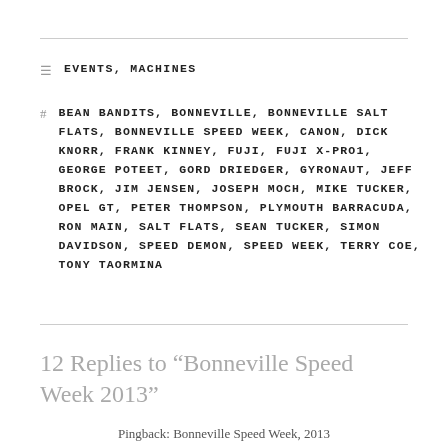EVENTS, MACHINES
BEAN BANDITS, BONNEVILLE, BONNEVILLE SALT FLATS, BONNEVILLE SPEED WEEK, CANON, DICK KNORR, FRANK KINNEY, FUJI, FUJI X-PRO1, GEORGE POTEET, GORD DRIEDGER, GYRONAUT, JEFF BROCK, JIM JENSEN, JOSEPH MOCH, MIKE TUCKER, OPEL GT, PETER THOMPSON, PLYMOUTH BARRACUDA, RON MAIN, SALT FLATS, SEAN TUCKER, SIMON DAVIDSON, SPEED DEMON, SPEED WEEK, TERRY COE, TONY TAORMINA
12 Replies to “Bonneville Speed Week 2013”
Pingback: Bonneville Speed Week, 2013